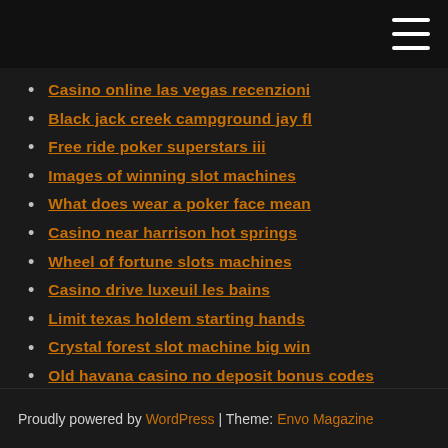Casino online las vegas recenzioni
Black jack creek campground jay fl
Free ride poker superstars iii
Images of winning slot machines
What does wear a poker face mean
Casino near harrison hot springs
Wheel of fortune slots machines
Casino drive luxeuil les bains
Limit texas holdem starting hands
Crystal forest slot machine big win
Old havana casino no deposit bonus codes
Proudly powered by WordPress | Theme: Envo Magazine